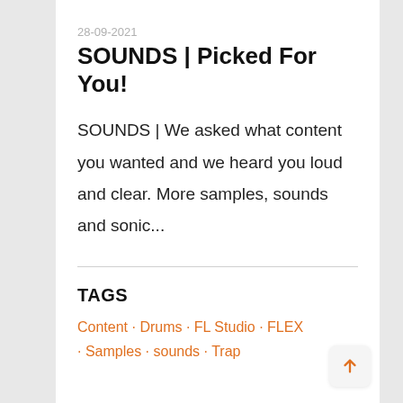28-09-2021
SOUNDS | Picked For You!
SOUNDS | We asked what content you wanted and we heard you loud and clear. More samples, sounds and sonic...
TAGS
Content · Drums · FL Studio · FLEX · Samples · sounds · Trap